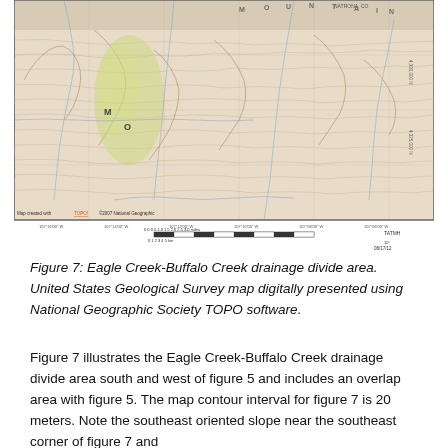[Figure (map): Topographic map of Eagle Creek-Buffalo Creek drainage divide area. USGS map digitally presented using National Geographic Society TOPO software. Map shows contour lines, drainages, mountain terrain with yellow-green highlighted ridges, and labels including 'MOUNTAIN' spelled out across the top and 'M' and 'O' labels. Map includes scale bar, UTM coordinates, and was created 08/17/12.]
Figure 7: Eagle Creek-Buffalo Creek drainage divide area. United States Geological Survey map digitally presented using National Geographic Society TOPO software.
Figure 7 illustrates the Eagle Creek-Buffalo Creek drainage divide area south and west of figure 5 and includes an overlap area with figure 5. The map contour interval for figure 7 is 20 meters. Note the southeast oriented slope near the southeast corner of figure 7 and